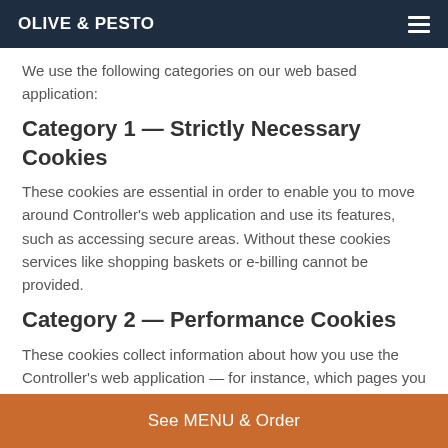OLIVE & PESTO
We use the following categories on our web based application:
Category 1 — Strictly Necessary Cookies
These cookies are essential in order to enable you to move around Controller's web application and use its features, such as accessing secure areas. Without these cookies services like shopping baskets or e-billing cannot be provided.
Category 2 — Performance Cookies
These cookies collect information about how you use the Controller's web application — for instance, which pages you go to most, and if they get error messages from web pages and/or the web application. These cookies don't
See MENU & Order